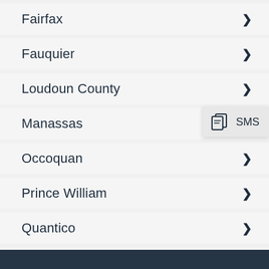Fairfax
Fauquier
Loudoun County
Manassas
Occoquan
Prince William
Quantico
Spotsylvania